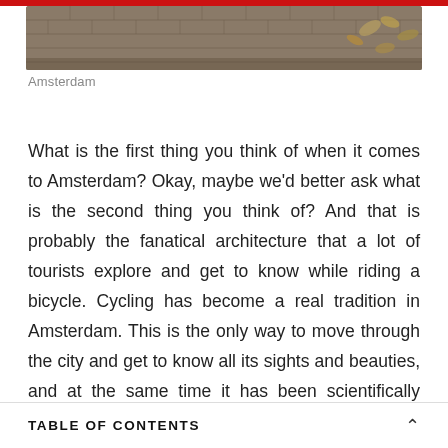[Figure (photo): Top portion of a photo showing brick/cobblestone pavement with autumn leaves scattered on it, partially cropped at top of page]
Amsterdam
What is the first thing you think of when it comes to Amsterdam? Okay, maybe we'd better ask what is the second thing you think of? And that is probably the fanatical architecture that a lot of tourists explore and get to know while riding a bicycle. Cycling has become a real tradition in Amsterdam. This is the only way to move through the city and get to know all its sights and beauties, and at the same time it has been scientifically proven that this activity is extremely good for health and muscle activation.
TABLE OF CONTENTS